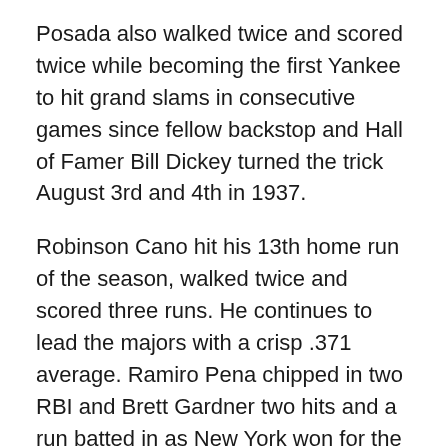Posada also walked twice and scored twice while becoming the first Yankee to hit grand slams in consecutive games since fellow backstop and Hall of Famer Bill Dickey turned the trick August 3rd and 4th in 1937.
Robinson Cano hit his 13th home run of the season, walked twice and scored three runs. He continues to lead the majors with a crisp .371 average. Ramiro Pena chipped in two RBI and Brett Gardner two hits and a run batted in as New York won for the 11th time in 14 games.
Hughes (9-1) endured a four-run sixth inning and was pulled after 5 2/3 frames having allowed five runs on seven hits with a pair of walks and six strikeouts. The